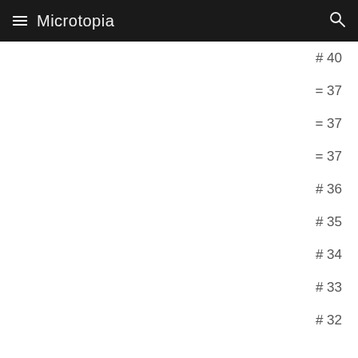Microtopia
# 40
= 37
= 37
= 37
# 36
# 35
# 34
# 33
# 32